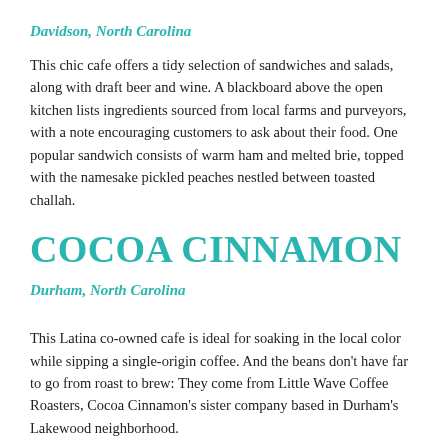Davidson, North Carolina
This chic cafe offers a tidy selection of sandwiches and salads, along with draft beer and wine. A blackboard above the open kitchen lists ingredients sourced from local farms and purveyors, with a note encouraging customers to ask about their food. One popular sandwich consists of warm ham and melted brie, topped with the namesake pickled peaches nestled between toasted challah.
COCOA CINNAMON
Durham, North Carolina
This Latina co-owned cafe is ideal for soaking in the local color while sipping a single-origin coffee. And the beans don't have far to go from roast to brew: They come from Little Wave Coffee Roasters, Cocoa Cinnamon's sister company based in Durham's Lakewood neighborhood.
THE RHU